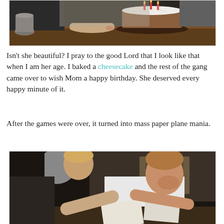[Figure (photo): A birthday cake with candles on a wooden table, a person's hand resting beside it, dark background.]
Isn't she beautiful? I pray to the good Lord that I look like that when I am her age. I baked a cheesecake and the rest of the gang came over to wish Mom a happy birthday. She deserved every happy minute of it.
After the games were over, it turned into mass paper plane mania.
[Figure (photo): Two people, a young boy and a man in a white t-shirt, sitting and folding paper planes, dark indoor setting.]